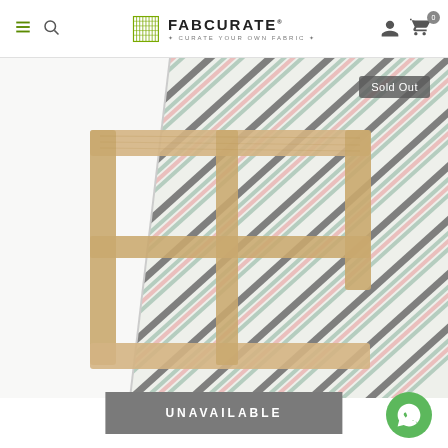FabCurate - Curate Your Own Fabric
[Figure (photo): Product image of striped fabric draped over a wooden canvas frame, showing diagonal fold revealing pastel striped pattern (dark grey, mint green, and pink stripes on off-white background). 'Sold Out' badge in top right corner.]
UNAVAILABLE
[Figure (other): Green circular WhatsApp button icon in bottom right corner]